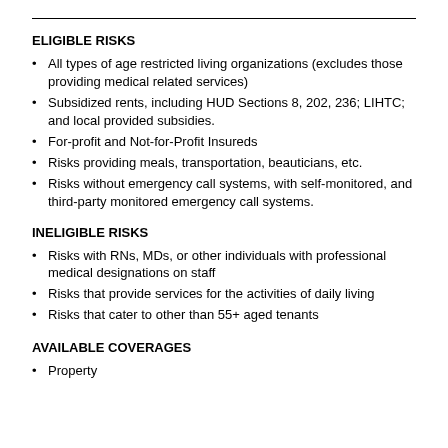ELIGIBLE RISKS
All types of age restricted living organizations (excludes those providing medical related services)
Subsidized rents, including HUD Sections 8, 202, 236; LIHTC; and local provided subsidies.
For-profit and Not-for-Profit Insureds
Risks providing meals, transportation, beauticians, etc.
Risks without emergency call systems, with self-monitored, and third-party monitored emergency call systems.
INELIGIBLE RISKS
Risks with RNs, MDs, or other individuals with professional medical designations on staff
Risks that provide services for the activities of daily living
Risks that cater to other than 55+ aged tenants
AVAILABLE COVERAGES
Property